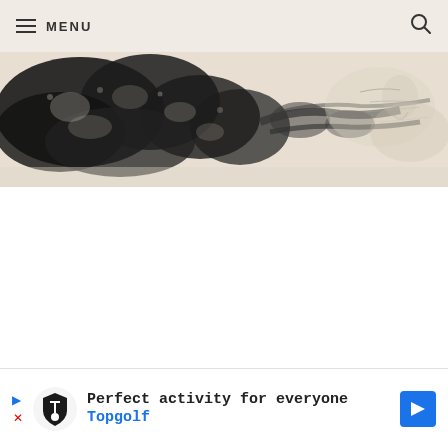MENU
[Figure (illustration): Black and white ink or brush painting depicting a sprawling tree or rocky outcropping with dense dark foliage/texture on a pale beige/cream background. The composition is wide and horizontal, showing dark masses at left tapering toward lighter sketch marks at right.]
[Figure (other): Advertisement banner for Topgolf: 'Perfect activity for everyone' with Topgolf logo and blue directional arrow icon. Includes play and close controls.]